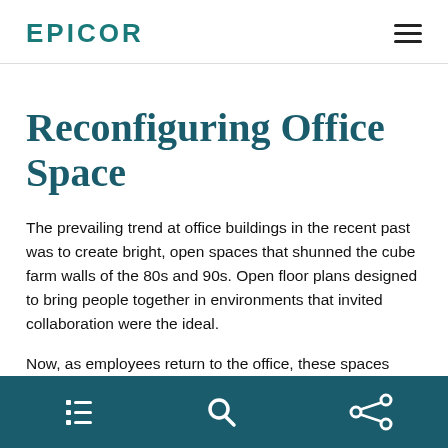EPICOR
Reconfiguring Office Space
The prevailing trend at office buildings in the recent past was to create bright, open spaces that shunned the cube farm walls of the 80s and 90s. Open floor plans designed to bring people together in environments that invited collaboration were the ideal.
Now, as employees return to the office, these spaces may need to be retrofitted. Plexiglass and other partitions are being used to create physical distance. But outfitting
navigation icons: list, search, share